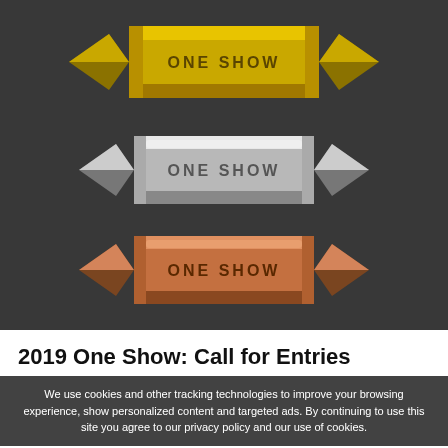[Figure (illustration): Three One Show award pencils stacked vertically against a dark background: gold at top, silver in middle, bronze/copper at bottom. Each pencil has a faceted bullet shape with 'ONE SHOW' text engraved on the center band.]
2019 One Show: Call for Entries
We use cookies and other tracking technologies to improve your browsing experience, show personalized content and targeted ads. By continuing to use this site you agree to our privacy policy and our use of cookies.
the world's calling on the One Show, the world's most prestigious awards show.